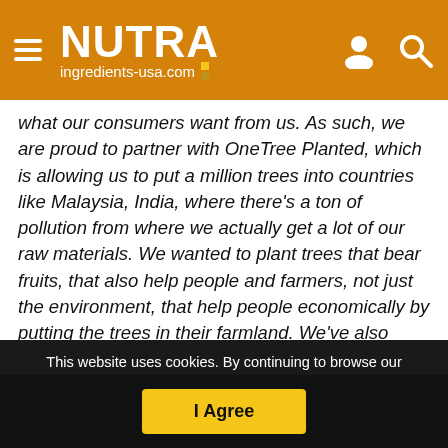NUTRA ingredients-usa.com
what our consumers want from us. As such, we are proud to partner with OneTree Planted, which is allowing us to put a million trees into countries like Malaysia, India, where there's a ton of pollution from where we actually get a lot of our raw materials. We wanted to plant trees that bear fruits, that also help people and farmers, not just the environment, that help people economically by putting the trees in their farmland. We've also committed ourselves to using all the square footage we have in our manufacturing facility here in Ogden to put up solar panels. We have committed ourselves to using as much recycled
This website uses cookies. By continuing to browse our website, you are agreeing to our use of cookies. You can learn more about cookies by visiting our privacy & cookies policy page.
I Agree